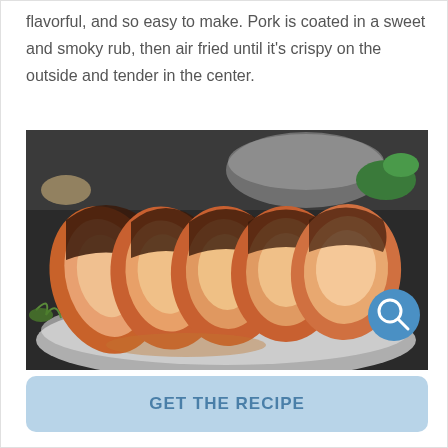flavorful, and so easy to make. Pork is coated in a sweet and smoky rub, then air fried until it's crispy on the outside and tender in the center.
[Figure (photo): Sliced air-fried pork loin on a plate with a golden-brown, crispy exterior, showing tender pink interior slices, garnished with greens, with a blue search/magnify icon button overlaid at lower right.]
GET THE RECIPE